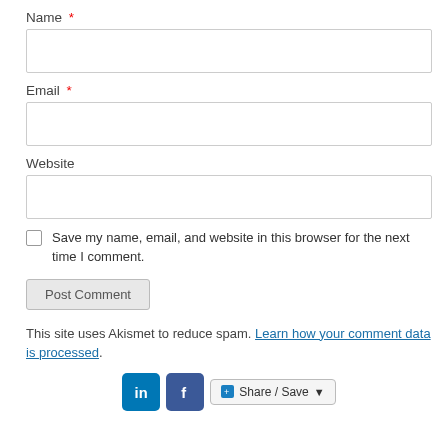Name *
Email *
Website
Save my name, email, and website in this browser for the next time I comment.
Post Comment
This site uses Akismet to reduce spam. Learn how your comment data is processed.
[Figure (other): LinkedIn, Facebook, and Share/Save social sharing buttons]